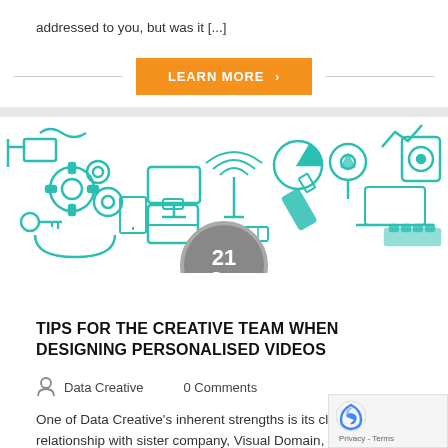addressed to you, but was it [...]
LEARN MORE ›
[Figure (illustration): Teal/turquoise technology icon set banner — gears, laptop, USB drive, hard disk, wifi tower, location pin, pie chart, keys, etc. with a grey circular date badge showing '21 Dec' overlaid at the bottom center.]
TIPS FOR THE CREATIVE TEAM WHEN DESIGNING PERSONALISED VIDEOS
Data Creative   0 Comments
One of Data Creative's inherent strengths is its clos relationship with sister company, Visual Domain, an